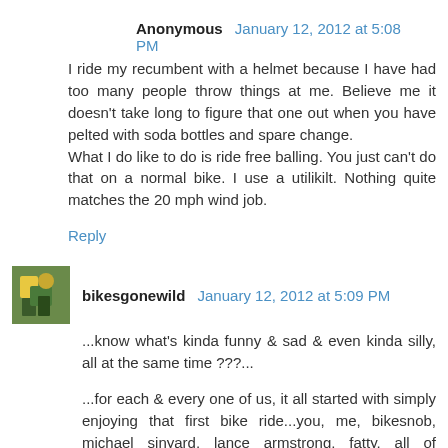Anonymous  January 12, 2012 at 5:08 PM
I ride my recumbent with a helmet because I have had too many people throw things at me. Believe me it doesn't take long to figure that one out when you have pelted with soda bottles and spare change.
What I do like to do is ride free balling. You just can't do that on a normal bike. I use a utilikilt. Nothing quite matches the 20 mph wind job.
Reply
bikesgonewild  January 12, 2012 at 5:09 PM
...know what's kinda funny & sad & even kinda silly, all at the same time ???...
...for each & every one of us, it all started with simply enjoying that first bike ride...you, me, bikesnob, michael sinyard, lance armstrong, fatty, all of us...hell, even leroy's dog apparently...
...maybe a skinned knee here, a neosporined owww-y there...